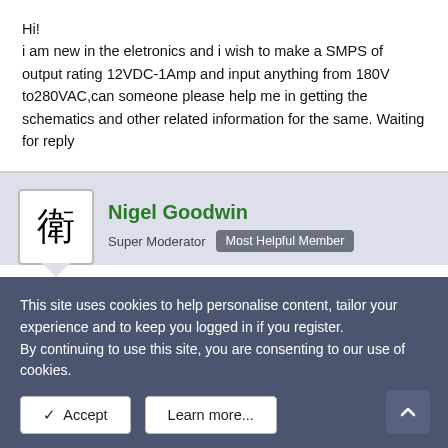Hi!
i am new in the eletronics and i wish to make a SMPS of output rating 12VDC-1Amp and input anything from 180V to280VAC,can someone please help me in getting the schematics and other related information for the same. Waiting for reply
Nigel Goodwin
Super Moderator   Most Helpful Member
Feb 14, 2004
#2
varun said:
This site uses cookies to help personalise content, tailor your experience and to keep you logged in if you register.
By continuing to use this site, you are consenting to our use of cookies.